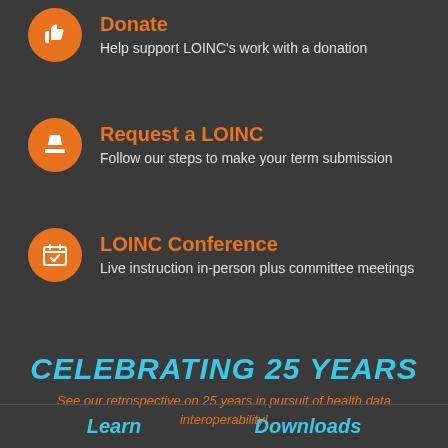Donate – Help support LOINC's work with a donation
Request a LOINC – Follow our steps to make your term submission
LOINC Conference – Live instruction in-person plus committee meetings
CELEBRATING 25 YEARS
See our retrospective on 25 years in pursuit of health data interoperability!
Learn    Downloads